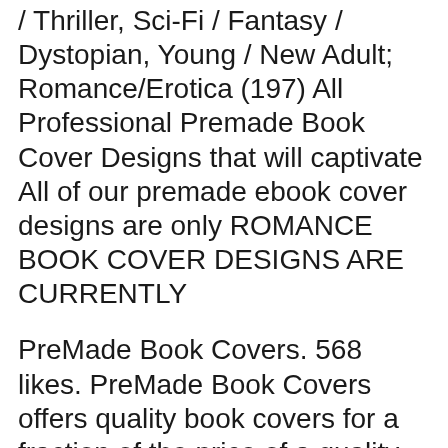/ Thriller, Sci-Fi / Fantasy / Dystopian, Young / New Adult; Romance/Erotica (197) All Professional Premade Book Cover Designs that will captivate All of our premade ebook cover designs are only ROMANCE BOOK COVER DESIGNS ARE CURRENTLY
PreMade Book Covers. 568 likes. PreMade Book Covers offers quality book covers for a fraction of the price of a quality custom designed covers. PreMade Ebook Covers. Further customizations can be made to these premade ebook covers for an additional All of the premade book covers for sale can be made in print book covers for an